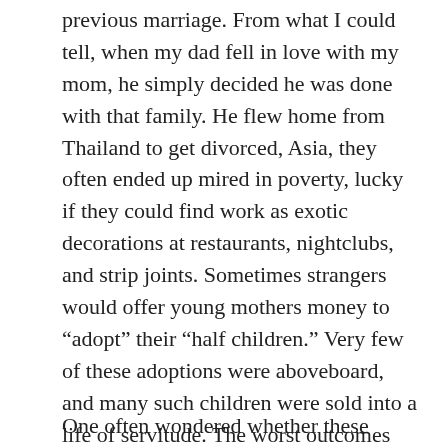previous marriage. From what I could tell, when my dad fell in love with my mom, he simply decided he was done with that family. He flew home from Thailand to get divorced, Asia, they often ended up mired in poverty, lucky if they could find work as exotic decorations at restaurants, nightclubs, and strip joints. Sometimes strangers would offer young mothers money to “adopt” their “half children.” Very few of these adoptions were aboveboard, and many such children were sold into a life of servitude. The worst outcomes were of countless children being sold into Southeast Asia’s notorious sex trade and forced into sexual slavery.
One often wondered whether these would be